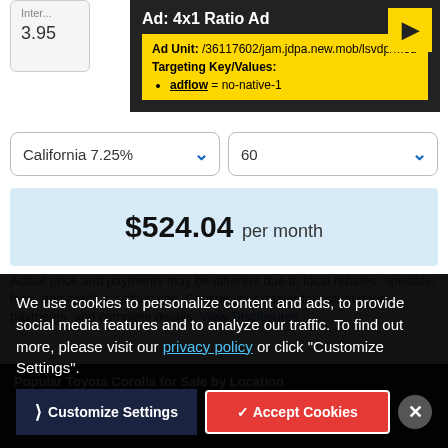[Figure (screenshot): Ad debug overlay showing 4x1 Ratio Ad with ad unit path /36117602/jam.jdpa.new.mob/lsvdp/mod and targeting key adflow = no-native-1]
California 7.25%
60
$524.04 per month
Actual price and payments may be different due to local rebates, specials, fees, and credit qualifications. Consult your dealer for actual price, payments, and complete details. View Disclosures
Popular Toyota Corolla for Sale by Location
We use cookies to personalize content and ads, to provide social media features and to analyze our traffic. To find out more, please visit our privacy policy or click "Customize Settings".